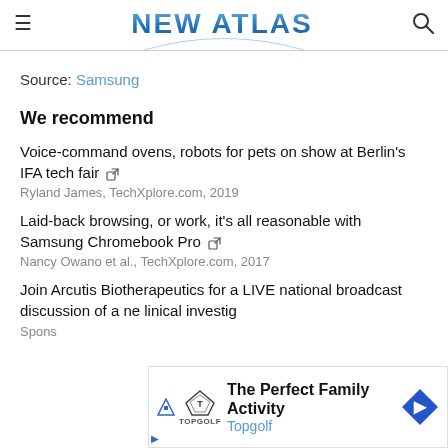NEW ATLAS
Source: Samsung
We recommend
Voice-command ovens, robots for pets on show at Berlin's IFA tech fair
Ryland James, TechXplore.com, 2019
Laid-back browsing, or work, it's all reasonable with Samsung Chromebook Pro
Nancy Owano et al., TechXplore.com, 2017
Join Arcutis Biotherapeutics for a LIVE national broadcast discussion of a ne... linical investig...
Sponso...
[Figure (infographic): Advertisement banner for Topgolf: The Perfect Family Activity]